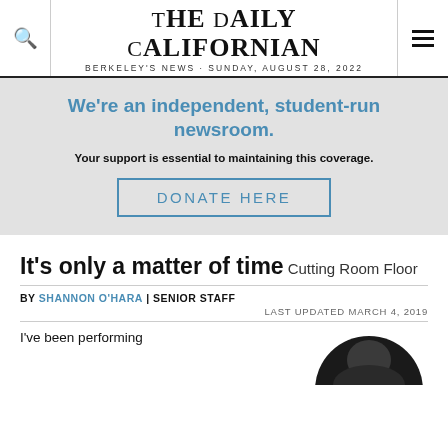THE DAILY CALIFORNIAN
BERKELEY'S NEWS · SUNDAY, AUGUST 28, 2022
We're an independent, student-run newsroom.
Your support is essential to maintaining this coverage.
DONATE HERE
It's only a matter of time
Cutting Room Floor
BY SHANNON O'HARA | SENIOR STAFF
LAST UPDATED MARCH 4, 2019
I've been performing